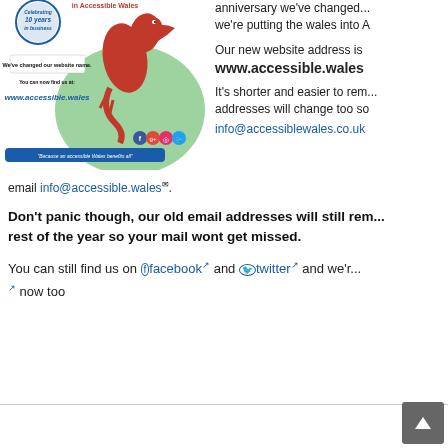[Figure (illustration): Promotional image for Accessible Wales showing Welsh dragon, '10 years in business' badge, and website change announcement with www.accessible.wales URL and social media icons]
anniversary we've changed... we're putting the wales into A
Our new website address is
www.accessible.wales
It's shorter and easier to remember. Our email addresses will change too so
info@accessiblewales.co.uk
email info@accessible.wales.
Don't panic though, our old email addresses will still rem... rest of the year so your mail wont get missed.
You can still find us on facebook and twitter and we'r... now too